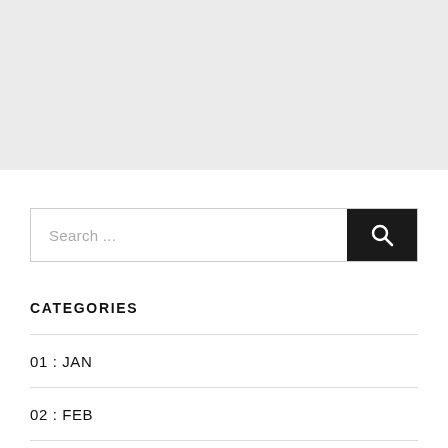[Figure (other): Gray banner area at top of page]
Search ...
CATEGORIES
01 : JAN
02 : FEB